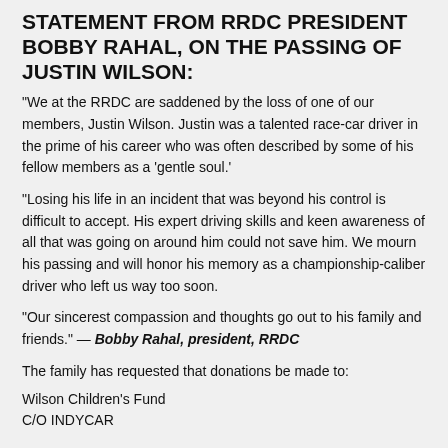STATEMENT FROM RRDC PRESIDENT BOBBY RAHAL, ON THE PASSING OF JUSTIN WILSON:
“We at the RRDC are saddened by the loss of one of our members, Justin Wilson. Justin was a talented race-car driver in the prime of his career who was often described by some of his fellow members as a ‘gentle soul.’
“Losing his life in an incident that was beyond his control is difficult to accept. His expert driving skills and keen awareness of all that was going on around him could not save him. We mourn his passing and will honor his memory as a championship-caliber driver who left us way too soon.
“Our sincerest compassion and thoughts go out to his family and friends.” — Bobby Rahal, president, RRDC
The family has requested that donations be made to:
Wilson Children’s Fund
C/O INDYCAR